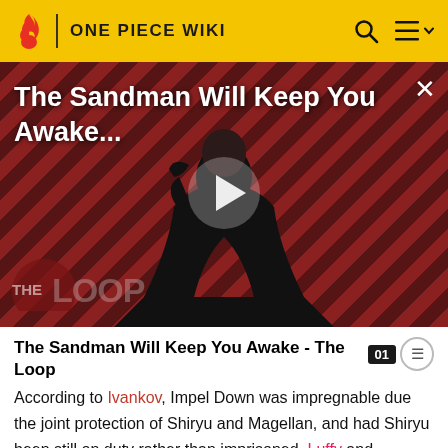ONE PIECE WIKI
[Figure (screenshot): Video advertisement thumbnail showing a dark-robed figure against a red diagonal stripe background with 'The Sandman Will Keep You Awake...' title text and a play button overlay. 'THE LOOP' logo visible at bottom left.]
The Sandman Will Keep You Awake - The Loop
According to Ivankov, Impel Down was impregnable due the joint protection of Shiryu and Magellan, and had Shiryu been still on duty rather than imprisoned, Luffy and Bentham would not have been able to break as far down